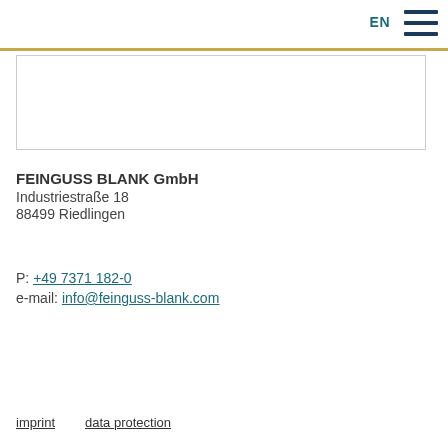EN  DE
[Figure (other): Navigation menu with gold horizontal line separating EN and DE language options, with hamburger menu icon]
FEINGUSS BLANK GmbH
Industriestraße 18
88499 Riedlingen
P: +49 7371 182-0
e-mail: info@feinguss-blank.com
imprint    data protection